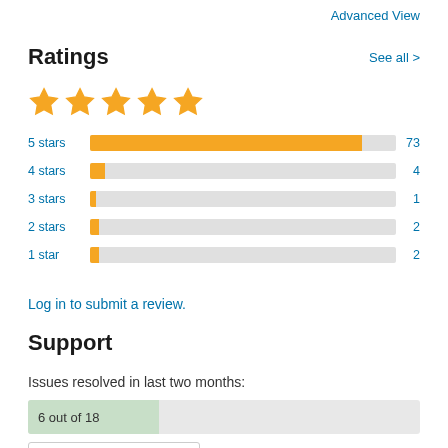Advanced View
Ratings
See all >
[Figure (other): 5 yellow stars rating display]
[Figure (bar-chart): Star ratings distribution]
Log in to submit a review.
Support
Issues resolved in last two months:
6 out of 18